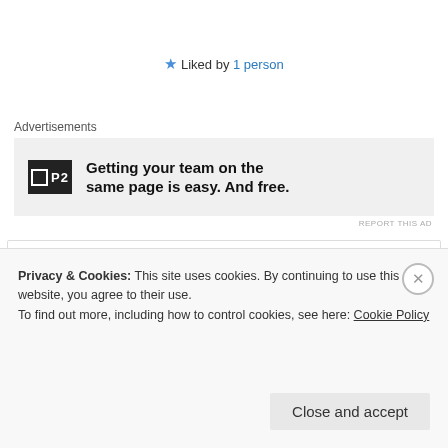😊🤝
★ Liked by 1 person
Advertisements
[Figure (logo): P2 logo with square icon and bold advertisement text: Getting your team on the same page is easy. And free.]
REPORT THIS AD
vaniheart
25th Jun 2021 at 6:05 pm
This is so beautiful and wonderful ❤️❤️👏🤗🤗
Privacy & Cookies: This site uses cookies. By continuing to use this website, you agree to their use.
To find out more, including how to control cookies, see here: Cookie Policy
Close and accept